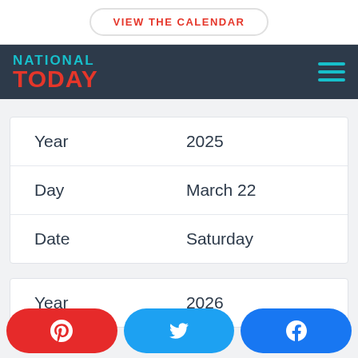VIEW THE CALENDAR
NATIONAL TODAY
| Year | 2025 |
| Day | March 22 |
| Date | Saturday |
| Year | 2026 |